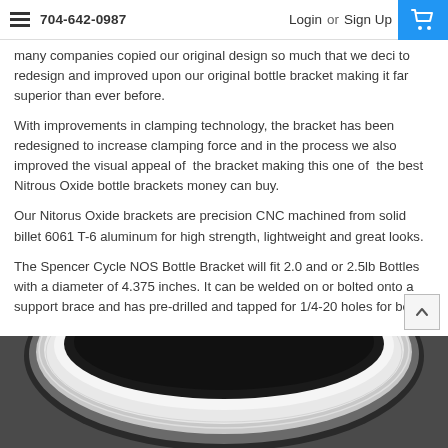704-642-0987  Login or Sign Up
many companies copied our original design so much that we deci to redesign and improved upon our original bottle bracket making it far superior than ever before.
With improvements in clamping technology, the bracket has been redesigned to increase clamping force and in the process we also improved the visual appeal of the bracket making this one of the best Nitrous Oxide bottle brackets money can buy.
Our Nitorus Oxide brackets are precision CNC machined from solid billet 6061 T-6 aluminum for high strength, lightweight and great looks.
The Spencer Cycle NOS Bottle Bracket will fit 2.0 and or 2.5lb Bottles with a diameter of 4.375 inches. It can be welded on or bolted onto a support brace and has pre-drilled and tapped for 1/4-20 holes for bolts.
[Figure (photo): Partial view of a round silver/chrome Nitrous Oxide bottle bracket, showing the circular clamp ring from below.]